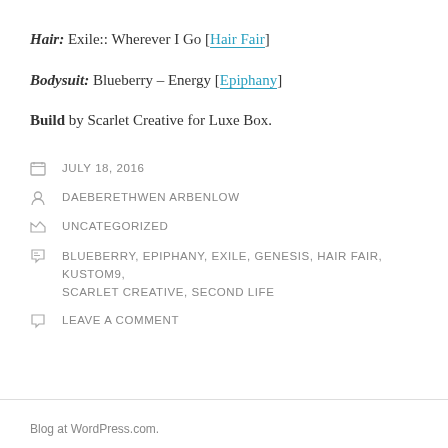Hair: Exile:: Wherever I Go [Hair Fair]
Bodysuit: Blueberry – Energy [Epiphany]
Build by Scarlet Creative for Luxe Box.
JULY 18, 2016
DAEBERETHWEN ARBENLOW
UNCATEGORIZED
BLUEBERRY, EPIPHANY, EXILE, GENESIS, HAIR FAIR, KUSTOM9, SCARLET CREATIVE, SECOND LIFE
LEAVE A COMMENT
Blog at WordPress.com.